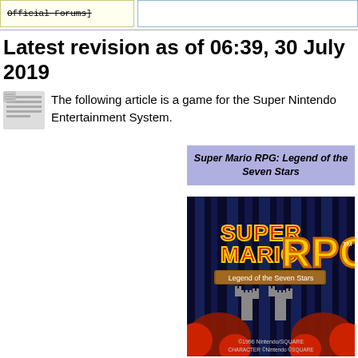Official Forums]
Latest revision as of 06:39, 30 July 2019
The following article is a game for the Super Nintendo Entertainment System.
Super Mario RPG: Legend of the Seven Stars
[Figure (screenshot): Super Mario RPG: Legend of the Seven Stars game title screen showing the game logo in red/yellow letters with blue curtain background, a castle, and copyright text '©1996 Nintendo/SQUARE CHARACTER ©Nintendo ©SQUARE']